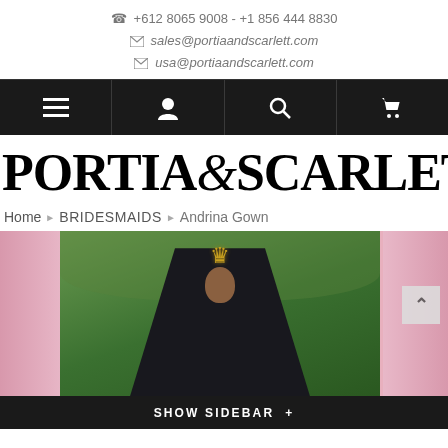+612 8065 9008 - +1 856 444 8830 | sales@portiaandscarlett.com | usa@portiaandscarlett.com
[Figure (screenshot): Navigation bar with hamburger menu, user icon, search icon, and cart icon on dark background]
PORTIA&SCARLETT
Home › BRIDESMAIDS › Andrina Gown
[Figure (photo): Product photo of a model wearing a formal gown with a crown/tiara, dark dress, in an outdoor garden setting with pink fabric panels on sides]
SHOW SIDEBAR +